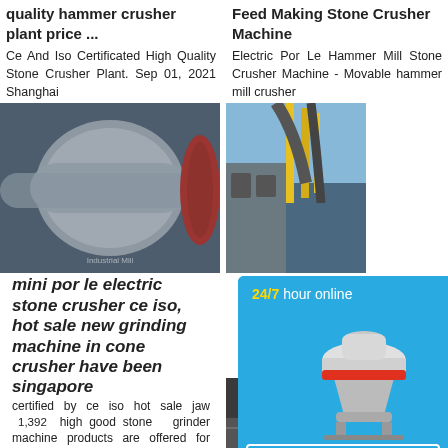quality hammer crusher plant price ...
Ce And Iso Certificated High Quality Stone Crusher Plant. Sep 01, 2021 Shanghai
[Figure (photo): Large industrial ball mill / drum crusher machine in a factory setting, gray and red colored.]
mini por le electric stone crusher ce iso, hot sale new grinding machine in cone crusher have been singapore certified by ce iso hot sale jaw 1,392 high goodstone grinder machine products are offered for sale by suppliers on Alibaba,
[Figure (photo): Row of large blue industrial grinding/milling machines in a warehouse with arched roof, workers visible.]
Feed Making Stone Crusher Machine
Electric Por Le Hammer Mill Stone Crusher Machine - Movable hammer mill crusher
[Figure (photo): Industrial stone crusher plant with yellow scaffolding and large pipes/tubes, outdoor setting.]
mills ore high tech machine s le stone world . De Welcome Industry M establishm Heavy Ind
[Figure (photo): Underground mine tunnel with machinery visible in the background.]
[Figure (illustration): Chat widget popup showing a cone crusher machine image, 24/7 hour online text in gold and white, Click me to chat>> button, Enquiry section, and limingjlmofen text at bottom.]